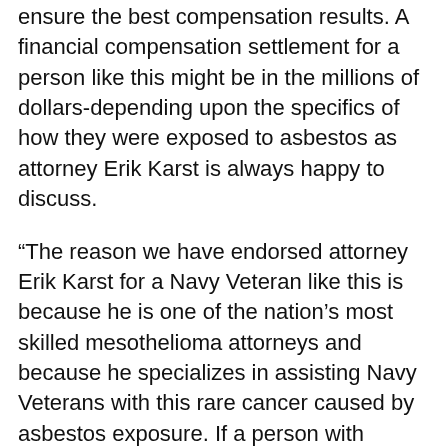ensure the best compensation results. A financial compensation settlement for a person like this might be in the millions of dollars-depending upon the specifics of how they were exposed to asbestos as attorney Erik Karst is always happy to discuss.
“The reason we have endorsed attorney Erik Karst for a Navy Veteran like this is because he is one of the nation’s most skilled mesothelioma attorneys and because he specializes in assisting Navy Veterans with this rare cancer caused by asbestos exposure. If a person with mesothelioma wants to receive the best possible financial compensation it is vital-they hire an attorney who knows what they are doing. If you are a Navy Nuclear Submarine Veteran with recently diagnosed mesothelioma or their family-please call attorney Erik Karst of Karst von Oiste at 800-714-0303. Erik might be a game changer when it comes to a person like a Navy